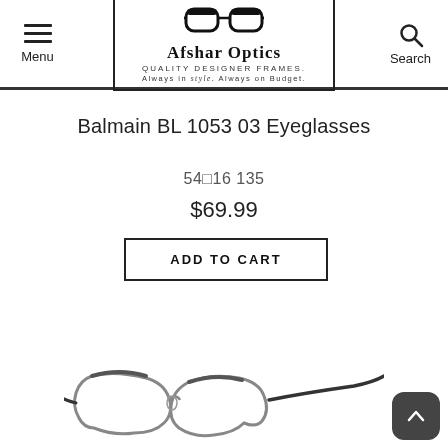Afshar Optics - QUALITY DESIGNER FRAMES. ALWAYS IN style. ALWAYS ON BUDGET.
Balmain BL 1053 03 Eyeglasses
54[]16 135
$69.99
ADD TO CART
[Figure (photo): Partial view of eyeglasses frame (Balmain BL 1053 03), metal frame with dark temples, shown from front angle]